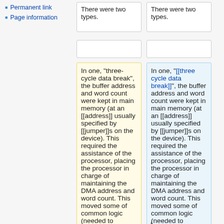Permanent link
Page information
There were two types.
There were two types.
In one, "three-cycle data break", the buffer address and word count were kept in main memory (at an [[address]] usually specified by [[jumper]]s on the device). This required the assistance of the processor, placing the processor in charge of maintaining the DMA address and word count. This moved some of common logic (needed to
In one, "[[three cycle data break]]", the buffer address and word count were kept in main memory (at an [[address]] usually specified by [[jumper]]s on the device). This required the assistance of the processor, placing the processor in charge of maintaining the DMA address and word count. This moved some of common logic (needed to